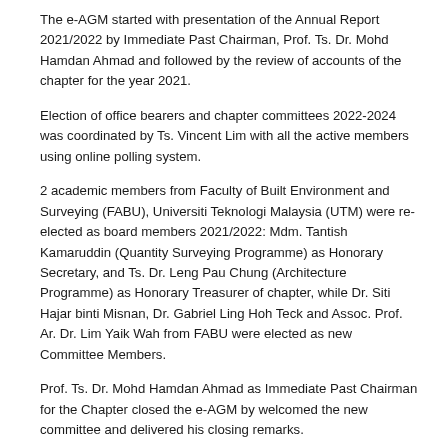The e-AGM started with presentation of the Annual Report 2021/2022 by Immediate Past Chairman, Prof. Ts. Dr. Mohd Hamdan Ahmad and followed by the review of accounts of the chapter for the year 2021.
Election of office bearers and chapter committees 2022-2024 was coordinated by Ts. Vincent Lim with all the active members using online polling system.
2 academic members from Faculty of Built Environment and Surveying (FABU), Universiti Teknologi Malaysia (UTM) were re-elected as board members 2021/2022: Mdm. Tantish Kamaruddin (Quantity Surveying Programme) as Honorary Secretary, and Ts. Dr. Leng Pau Chung (Architecture Programme) as Honorary Treasurer of chapter, while Dr. Siti Hajar binti Misnan, Dr. Gabriel Ling Hoh Teck and Assoc. Prof. Ar. Dr. Lim Yaik Wah from FABU were elected as new Committee Members.
Prof. Ts. Dr. Mohd Hamdan Ahmad as Immediate Past Chairman for the Chapter closed the e-AGM by welcomed the new committee and delivered his closing remarks.